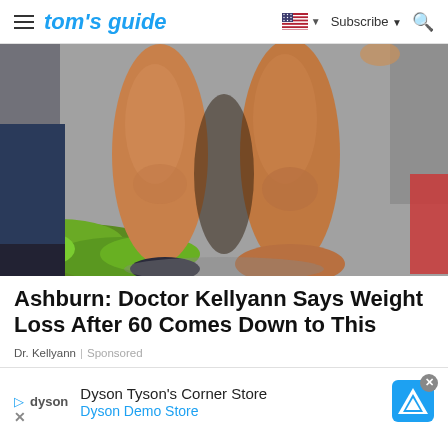tom's guide | Subscribe
[Figure (photo): Close-up photo of muscular bare legs/feet standing near green bushes on a grey pavement, with another person in jeans and dark shoes visible to the left, and a car partially visible on the right.]
Ashburn: Doctor Kellyann Says Weight Loss After 60 Comes Down to This
Dr. Kellyann | Sponsored
Dyson Tyson's Corner Store
Dyson Demo Store